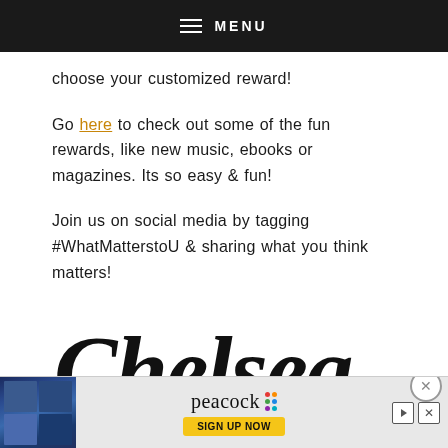≡ MENU
choose your customized reward!
Go here to check out some of the fun rewards, like new music, ebooks or magazines. Its so easy & fun!
Join us on social media by tagging #WhatMatterstoU & sharing what you think matters!
[Figure (illustration): Chelsea handwritten script signature logo in bold italic black text]
[Figure (screenshot): Peacock streaming service advertisement banner with 'SIGN UP NOW' button]